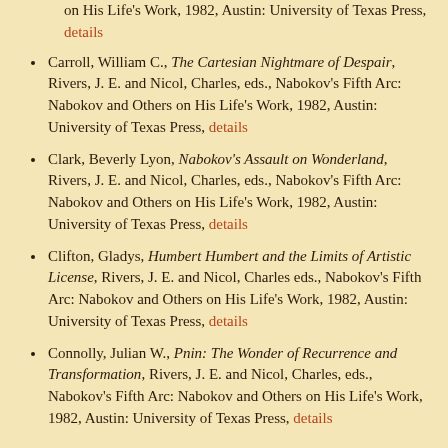(continuation) on His Life's Work, 1982, Austin: University of Texas Press, details
Carroll, William C., The Cartesian Nightmare of Despair, Rivers, J. E. and Nicol, Charles, eds., Nabokov's Fifth Arc: Nabokov and Others on His Life's Work, 1982, Austin: University of Texas Press, details
Clark, Beverly Lyon, Nabokov's Assault on Wonderland, Rivers, J. E. and Nicol, Charles, eds., Nabokov's Fifth Arc: Nabokov and Others on His Life's Work, 1982, Austin: University of Texas Press, details
Clifton, Gladys, Humbert Humbert and the Limits of Artistic License, Rivers, J. E. and Nicol, Charles eds., Nabokov's Fifth Arc: Nabokov and Others on His Life's Work, 1982, Austin: University of Texas Press, details
Connolly, Julian W., Pnin: The Wonder of Recurrence and Transformation, Rivers, J. E. and Nicol, Charles, eds., Nabokov's Fifth Arc: Nabokov and Others on His Life's Work, 1982, Austin: University of Texas Press, details